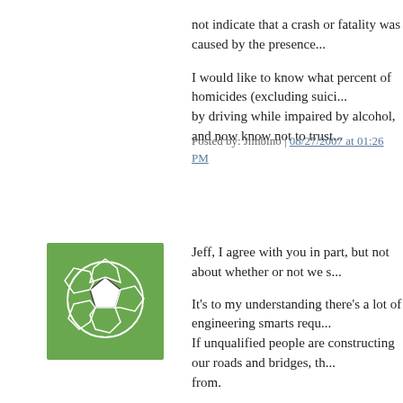not indicate that a crash or fatality was caused by the presence...
I would like to know what percent of homicides (excluding suicides) by driving while impaired by alcohol, and now know not to trust...
Posted by: Jimbino | 08/27/2007 at 01:26 PM
[Figure (illustration): Green avatar icon with soccer ball / geometric pattern on green background]
Jeff, I agree with you in part, but not about whether or not we s...
It's to my understanding there's a lot of engineering smarts requ... If unqualified people are constructing our roads and bridges, th... from.
I don't want just any body filling a vacant job because the const... you paid for.
We have H1B visa holders filling jobs that Americans are qualif... holders are guilty of not being qualified, but in my experience, v... when they aren't qualified to do the job.
I think this is going to end up haunting America when all is said... system to solve it to our satisfaction.
I had a judge, in a U.S. District Court, tell me it was going to ge... allow me to clean up Robins Air Force Base. He bypassed my p... going after a multimillion dollar contract. He refused to allow me... that showed he was in error. His response? "I don't understand...
The contract was given to H1B visa holders who then had the a... implimenting the plans because they didn't know how to do the... of Defense, and a security clearance is needed to access...